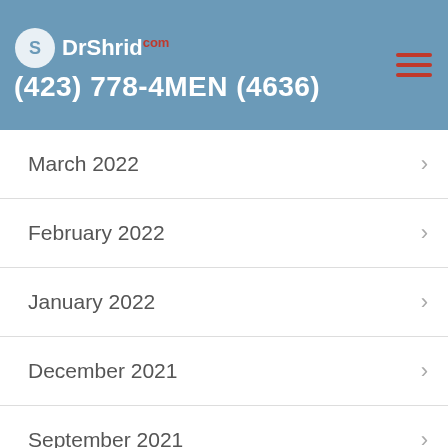DrShrid.com | (423) 778-4MEN (4636)
March 2022
February 2022
January 2022
December 2021
September 2021
August 2021
April 2021